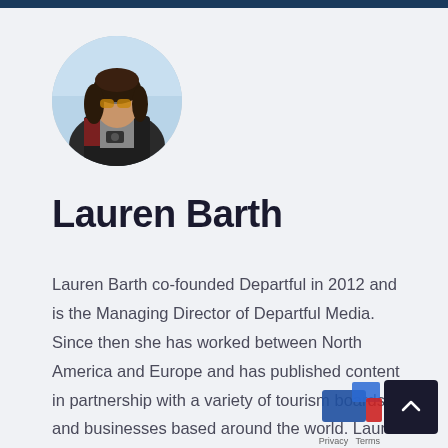[Figure (photo): Circular profile photo of Lauren Barth, a woman wearing sunglasses and a dark jacket, outdoors with a bright sky background.]
Lauren Barth
Lauren Barth co-founded Departful in 2012 and is the Managing Director of Departful Media. Since then she has worked between North America and Europe and has published content in partnership with a variety of tourism boards and businesses based around the world. Lauren is currently based in Toronto, Canada.